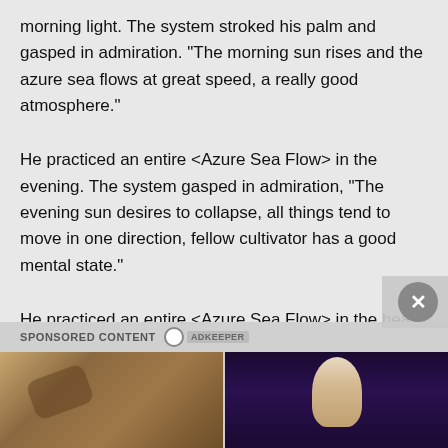morning light. The system stroked his palm and gasped in admiration. “The morning sun rises and the azure sea flows at great speed, a really good atmosphere.”
He practiced an entire <Azure Sea Flow> in the evening. The system gasped in admiration, “The evening sun desires to collapse, all things tend to move in one direction, fellow cultivator has a good mental state.”
He practiced an entire <Azure Sea Flow> in the heavy rain, the system continued to gasp in admiration, “Strong wind and heavy rain, the azure sea neither rise nor fa…
SPONSORED CONTENT
[Figure (photo): Close-up photo of sandy/tan colored animal fur or fabric texture with dark accents]
[Figure (photo): Photo of a blonde woman performer on a dark stage with blue/purple lighting]